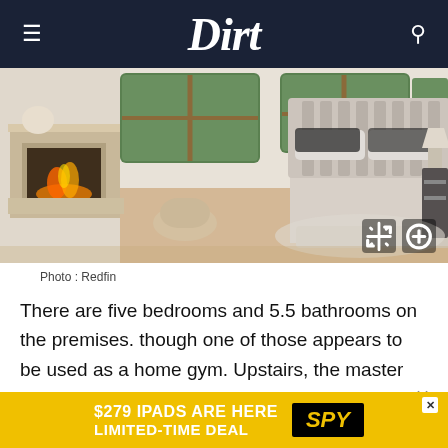Dirt
[Figure (photo): Bedroom interior with fireplace on left, upholstered bed in center, large windows with greenery view, hardwood floors, neutral palette.]
Photo : Redfin
There are five bedrooms and 5.5 bathrooms on the premises. though one of those appears to be used as a home gym. Upstairs, the master retreat offers a fireplace, plus a
[Figure (infographic): Advertisement banner: $279 IPADS ARE HERE / LIMITED-TIME DEAL / SPY]